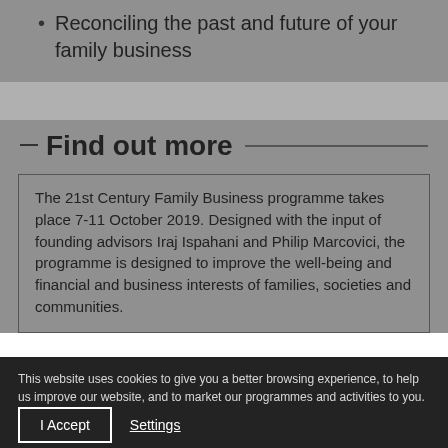Reconciling the past and future of your family business
Find out more
The 21st Century Family Business programme takes place 7-11 October 2019. Designed with the input of founding advisors Iraj Ispahani and Philip Marcovici, the programme is designed to improve the well-being and financial and business interests of families, societies and communities.
This website uses cookies to give you a better browsing experience, to help us improve our website, and to market our programmes and activities to you.
I Accept
Settings